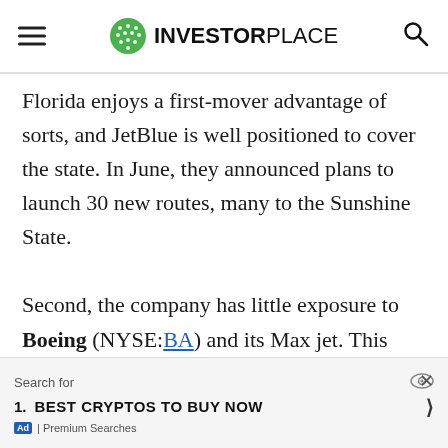INVESTORPLACE
Florida enjoys a first-mover advantage of sorts, and JetBlue is well positioned to cover the state. In June, they announced plans to launch 30 new routes, many to the Sunshine State.
Second, the company has little exposure to Boeing (NYSE:BA) and its Max jet. This advantage will evaporate over time, but timing is everything and so for now, I'll put this in the win column for JBLU stock.
And finally, JetBlue doesn't have to change its pricing strategy. Some consumers are sitting on a pile of cash
Search for
1. BEST CRYPTOS TO BUY NOW
Ad | Premium Searches